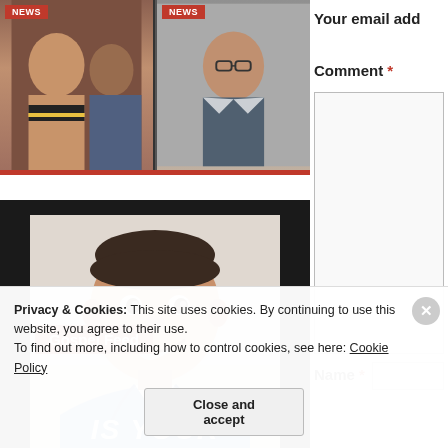[Figure (photo): Top strip with two news photo blocks, each with a red NEWS badge, showing people]
[Figure (photo): Gospel Feed promotional image showing a smiling man in a blue suit with 'Gospel Feed' label and 'IS YOUR' text at bottom]
Your email add
Comment *
Name *
Privacy & Cookies: This site uses cookies. By continuing to use this website, you agree to their use.
To find out more, including how to control cookies, see here: Cookie Policy
Close and accept